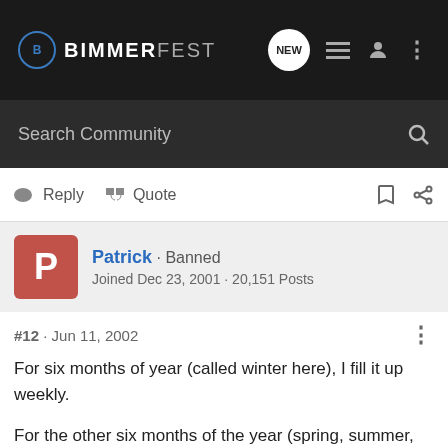BIMMERFEST - Navigation bar with logo, NEW, list, user, and menu icons
Search Community
Reply  Quote
Patrick · Banned
Joined Dec 23, 2001 · 20,151 Posts
#12 · Jun 11, 2002
For six months of year (called winter here), I fill it up weekly.

For the other six months of the year (spring, summer, fall), I fill it up once.

I went through 20 liters of fluid from mid-December to April. And I didn't drink any of it. :yikes: